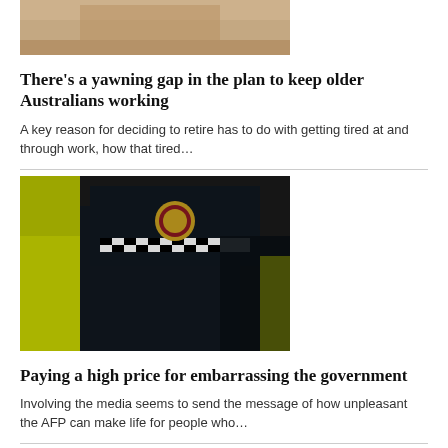[Figure (photo): Partial view of a table or desk, warm brown tones, cropped at top]
There's a yawning gap in the plan to keep older Australians working
A key reason for deciding to retire has to do with getting tired at and through work, how that tired…
[Figure (photo): Close-up of an Australian Federal Police officer wearing a checkered hat band and high-visibility yellow vest with AFP badge]
Paying a high price for embarrassing the government
Involving the media seems to send the message of how unpleasant the AFP can make life for people who…
[Figure (photo): Bottom of page partial image with dark blue background, cropped]